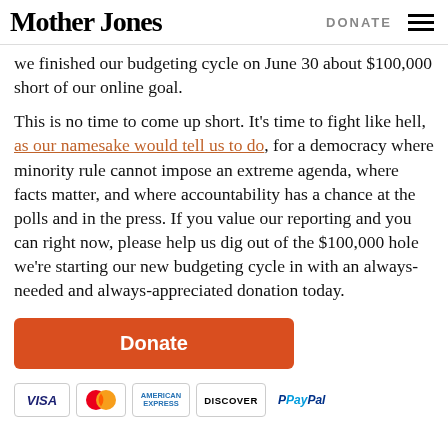Mother Jones | DONATE
we finished our budgeting cycle on June 30 about $100,000 short of our online goal.
This is no time to come up short. It's time to fight like hell, as our namesake would tell us to do, for a democracy where minority rule cannot impose an extreme agenda, where facts matter, and where accountability has a chance at the polls and in the press. If you value our reporting and you can right now, please help us dig out of the $100,000 hole we're starting our new budgeting cycle in with an always-needed and always-appreciated donation today.
[Figure (other): Orange Donate button]
[Figure (other): Payment method icons: VISA, MasterCard, American Express, Discover, PayPal]